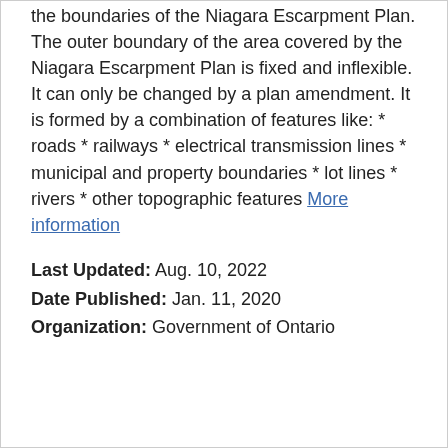the boundaries of the Niagara Escarpment Plan. The outer boundary of the area covered by the Niagara Escarpment Plan is fixed and inflexible. It can only be changed by a plan amendment. It is formed by a combination of features like: * roads * railways * electrical transmission lines * municipal and property boundaries * lot lines * rivers * other topographic features More information
Last Updated: Aug. 10, 2022
Date Published: Jan. 11, 2020
Organization: Government of Ontario